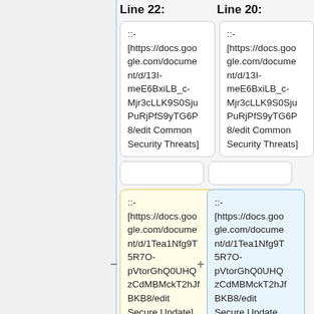Line 22:
Line 20:
::-
[https://docs.google.com/document/d/13I-meE6BxiLB_c-Mjr3cLLK9S0SjuPuRjPfS9yTG6P8/edit Common Security Threats]
::-
[https://docs.google.com/document/d/13I-meE6BxiLB_c-Mjr3cLLK9S0SjuPuRjPfS9yTG6P8/edit Common Security Threats]
::-
[https://docs.google.com/document/d/1Tea1Nfg9T5R7O-pVtorGhQ0UHQzCdMBMckT2hJfBKB8/edit Secure Update]
::-
[https://docs.google.com/document/d/1Tea1Nfg9T5R7O-pVtorGhQ0UHQzCdMBMckT2hJfBKB8/edit Secure Update and Recovery]